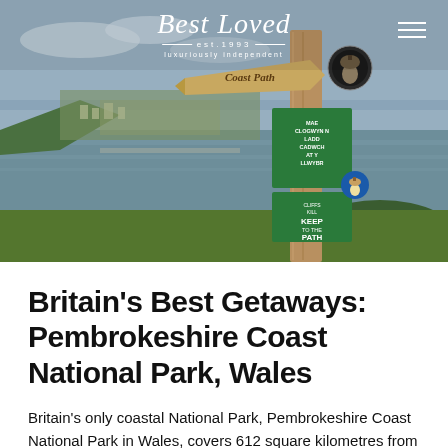[Figure (photo): Coastal landscape with a wooden signpost showing 'Coast Path' and green signs with Welsh and English text 'CLIFFS KILL KEEP TO THE PATH'. A bay, headlands, and a town visible in background. Best Loved logo overlay at top center.]
Britain's Best Getaways: Pembrokeshire Coast National Park, Wales
Britain's only coastal National Park, Pembrokeshire Coast National Park in Wales, covers 612 square kilometres from